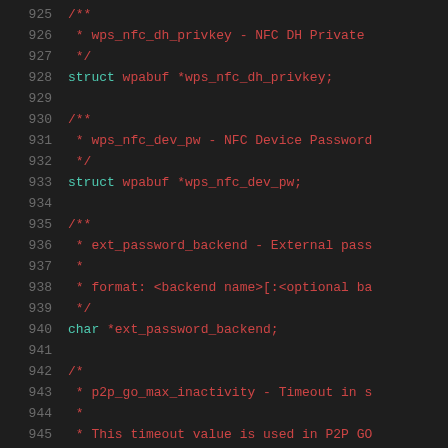[Figure (screenshot): Source code listing showing C struct fields with documentation comments, lines 925-946. Dark background IDE view with line numbers on left. Code shown in red/teal color scheme.]